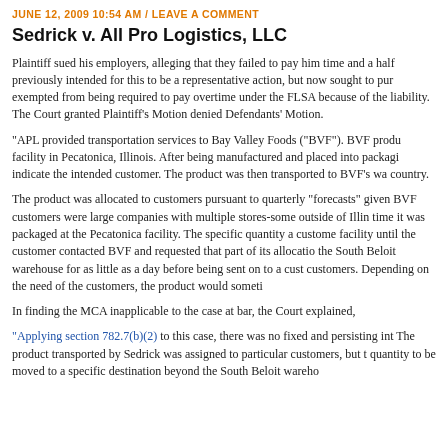JUNE 12, 2009 10:54 AM / LEAVE A COMMENT
Sedrick v. All Pro Logistics, LLC
Plaintiff sued his employers, alleging that they failed to pay him time and a half previously intended for this to be a representative action, but now sought to pur exempted from being required to pay overtime under the FLSA because of the liability. The Court granted Plaintiff’s Motion denied Defendants’ Motion.
“APL provided transportation services to Bay Valley Foods (“BVF”). BVF produ facility in Pecatonica, Illinois. After being manufactured and placed into packagi indicate the intended customer. The product was then transported to BVF’s wa country.
The product was allocated to customers pursuant to quarterly “forecasts” given BVF customers were large companies with multiple stores-some outside of Illin time it was packaged at the Pecatonica facility. The specific quantity a custome facility until the customer contacted BVF and requested that part of its allocatio the South Beloit warehouse for as little as a day before being sent on to a cust customers. Depending on the need of the customers, the product would someti
In finding the MCA inapplicable to the case at bar, the Court explained,
“Applying section 782.7(b)(2) to this case, there was no fixed and persisting int The product transported by Sedrick was assigned to particular customers, but t quantity to be moved to a specific destination beyond the South Beloit wareho